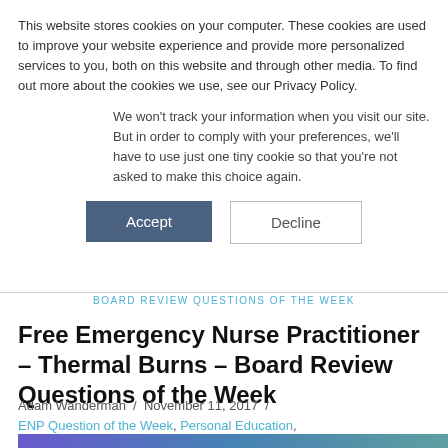This website stores cookies on your computer. These cookies are used to improve your website experience and provide more personalized services to you, both on this website and through other media. To find out more about the cookies we use, see our Privacy Policy.
We won't track your information when you visit our site. But in order to comply with your preferences, we'll have to use just one tiny cookie so that you're not asked to make this choice again.
Accept
Decline
BOARD REVIEW QUESTIONS OF THE WEEK
Free Emergency Nurse Practitioner – Thermal Burns – Board Review Questions of the Week
Adam Wanderman / November 11, 2017 /
ENP Question of the Week, Personal Education, Question of the Week